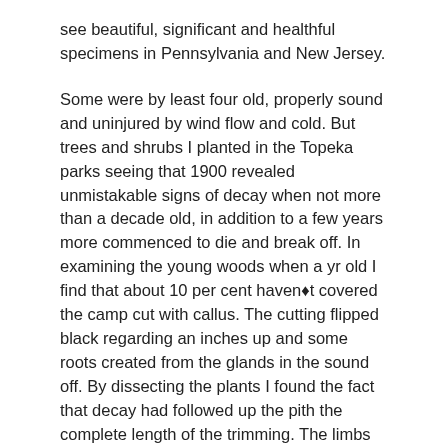see beautiful, significant and healthful specimens in Pennsylvania and New Jersey.
Some were by least four old, properly sound and uninjured by wind flow and cold. But trees and shrubs I planted in the Topeka parks seeing that 1900 revealed unmistakable signs of decay when not more than a decade old, in addition to a few years more commenced to die and break off. In examining the young woods when a yr old I find that about 10 per cent haven◆t covered the camp cut with callus. The cutting flipped black regarding an inches up and some roots created from the glands in the sound off. By dissecting the plants I found the fact that decay had followed up the pith the complete length of the trimming. The limbs and root base were slim and the leaves smaller than the ones from the healthful plants.